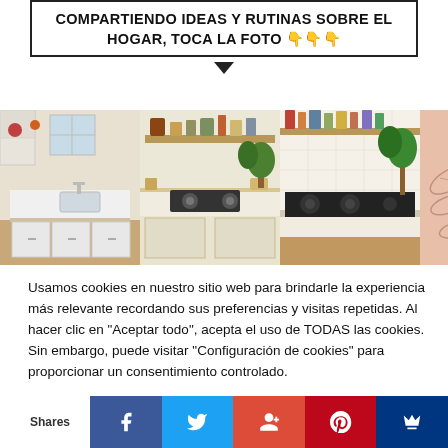COMPARTIENDO IDEAS Y RUTINAS SOBRE EL HOGAR, TOCA LA FOTO 👇👇👇
[Figure (photo): Strip of three kitchen interior photos side by side, with a floral illustration on the right on a pink/salmon background]
Usamos cookies en nuestro sitio web para brindarle la experiencia más relevante recordando sus preferencias y visitas repetidas. Al hacer clic en "Aceptar todo", acepta el uso de TODAS las cookies. Sin embargo, puede visitar "Configuración de cookies" para proporcionar un consentimiento controlado.
No vender mi información personal.
Shares | Facebook | Twitter | Google+ | Pinterest | Email